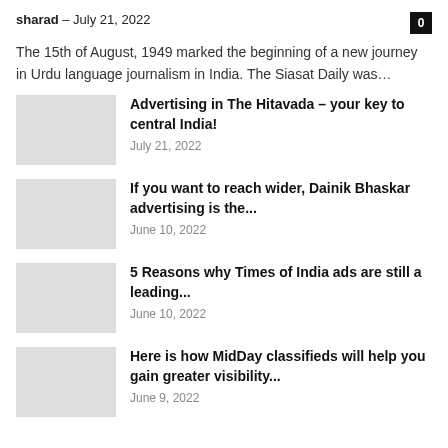sharad – July 21, 2022
The 15th of August, 1949 marked the beginning of a new journey in Urdu language journalism in India. The Siasat Daily was…
Advertising in The Hitavada – your key to central India!
July 21, 2022
If you want to reach wider, Dainik Bhaskar advertising is the...
June 10, 2022
5 Reasons why Times of India ads are still a leading...
June 10, 2022
Here is how MidDay classifieds will help you gain greater visibility...
June 9, 2022